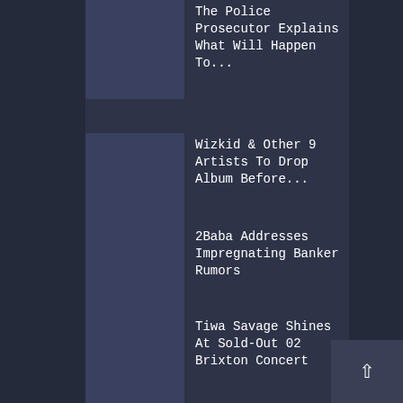The Police Prosecutor Explains What Will Happen To...
Wizkid & Other 9 Artists To Drop Album Before...
2Baba Addresses Impregnating Banker Rumors
Tiwa Savage Shines At Sold-Out 02 Brixton Concert